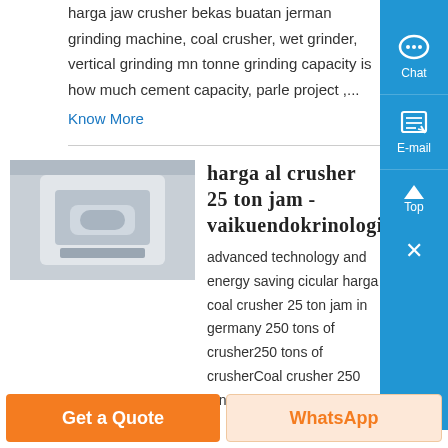harga jaw crusher bekas buatan jerman grinding machine, coal crusher, wet grinder, vertical grinding mn tonne grinding capacity is how much cement capacity, parle project ,...
Know More
harga al crusher 25 ton jam - vaikuendokrinologijal
[Figure (photo): Photo of a white industrial machine/crusher equipment]
advanced technology and energy saving cicular harga coal crusher 25 ton jam in germany 250 tons of crusher250 tons of crusherCoal crusher 250 ton per jam wo...
Get a Quote
WhatsApp